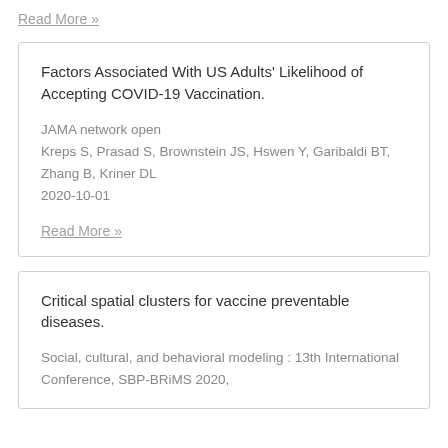Read More »
Factors Associated With US Adults' Likelihood of Accepting COVID-19 Vaccination.
JAMA network open
Kreps S, Prasad S, Brownstein JS, Hswen Y, Garibaldi BT, Zhang B, Kriner DL
2020-10-01
Read More »
Critical spatial clusters for vaccine preventable diseases.
Social, cultural, and behavioral modeling : 13th International Conference, SBP-BRiMS 2020,